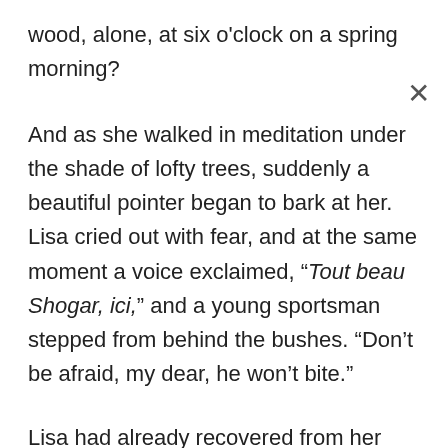wood, alone, at six o'clock on a spring morning?
And as she walked in meditation under the shade of lofty trees, suddenly a beautiful pointer began to bark at her. Lisa cried out with fear, and at the same moment a voice exclaimed, “Tout beau Shogar, ici,” and a young sportsman stepped from behind the bushes. “Don’t be afraid, my dear, he won’t bite.”
Lisa had already recovered from her fright, and instantly took advantage of the situation.
“It’s all very well, sir,” she said, with assumed timidity